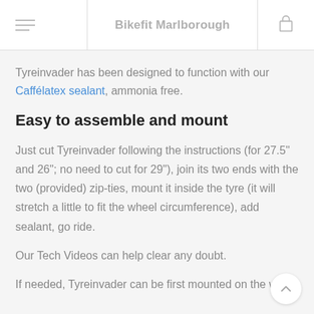Bikefit Marlborough
Tyreinvader has been designed to function with our Caffélatex sealant, ammonia free.
Easy to assemble and mount
Just cut Tyreinvader following the instructions (for 27.5" and 26"; no need to cut for 29"), join its two ends with the two (provided) zip-ties, mount it inside the tyre (it will stretch a little to fit the wheel circumference), add sealant, go ride.
Our Tech Videos can help clear any doubt.
If needed, Tyreinvader can be first mounted on the wheel